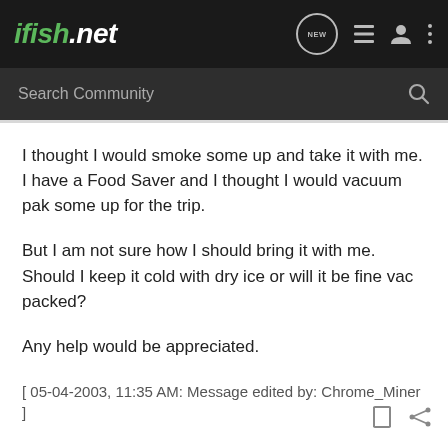ifish.net
I thought I would smoke some up and take it with me. I have a Food Saver and I thought I would vacuum pak some up for the trip.
But I am not sure how I should bring it with me. Should I keep it cold with dry ice or will it be fine vac packed?
Any help would be appreciated.
[ 05-04-2003, 11:35 AM: Message edited by: Chrome_Miner ]